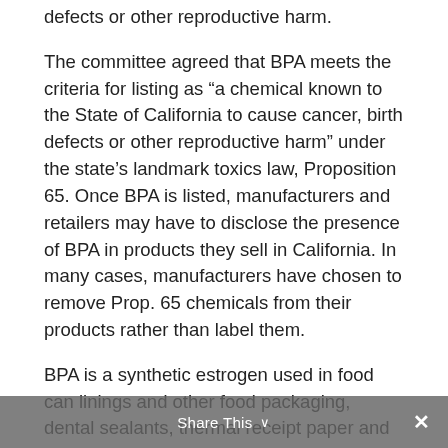defects or other reproductive harm.
The committee agreed that BPA meets the criteria for listing as “a chemical known to the State of California to cause cancer, birth defects or other reproductive harm” under the state’s landmark toxics law, Proposition 65. Once BPA is listed, manufacturers and retailers may have to disclose the presence of BPA in products they sell in California. In many cases, manufacturers have chosen to remove Prop. 65 chemicals from their products rather than label them.
BPA is a synthetic estrogen used in food can linings and other food packaging, dental sealants, thermal receipt paper and many
Share This